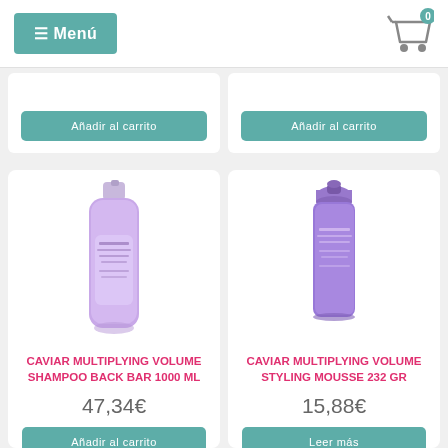[Figure (screenshot): Navigation bar with teal menu button showing hamburger icon and 'Menú' text, and a shopping cart icon with badge showing 0]
[Figure (screenshot): Partial view of two product cards from previous row, each showing 'Añadir al carrito' teal buttons]
[Figure (photo): Purple shampoo bottle - CAVIAR MULTIPLYING VOLUME shampoo back bar 1000 ml]
CAVIAR MULTIPLYING VOLUME shampoo back bar 1000 ml
47,34€
Añadir al carrito
[Figure (photo): Purple styling mousse can - CAVIAR MULTIPLYING VOLUME styling mousse 232 gr]
CAVIAR MULTIPLYING VOLUME styling mousse 232 gr
15,88€
Leer más